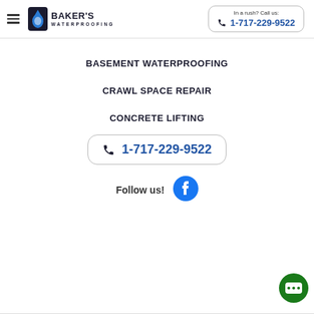[Figure (logo): Baker's Waterproofing logo with water drop icon and company name]
In a rush? Call us: 1-717-229-9522
BASEMENT WATERPROOFING
CRAWL SPACE REPAIR
CONCRETE LIFTING
1-717-229-9522
Follow us!
[Figure (illustration): Facebook circular icon in blue]
[Figure (illustration): Green chat bubble icon with three dots]